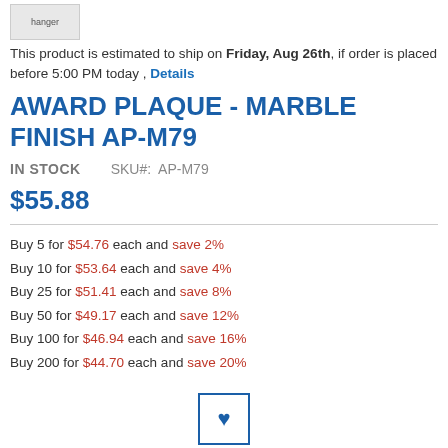[Figure (photo): Small thumbnail image of a hanger/product with label 'hanger']
This product is estimated to ship on Friday, Aug 26th, if order is placed before 5:00 PM today , Details
AWARD PLAQUE - MARBLE FINISH AP-M79
IN STOCK   SKU#:  AP-M79
$55.88
Buy 5 for $54.76 each and save 2%
Buy 10 for $53.64 each and save 4%
Buy 25 for $51.41 each and save 8%
Buy 50 for $49.17 each and save 12%
Buy 100 for $46.94 each and save 16%
Buy 200 for $44.70 each and save 20%
[Figure (illustration): Heart/favorite button icon inside a bordered square]
Award Plaque - Marble Finish AP-M79
Size: 7 in x 9 in Standard
This wood finish plaque is an economical alternative to a solid